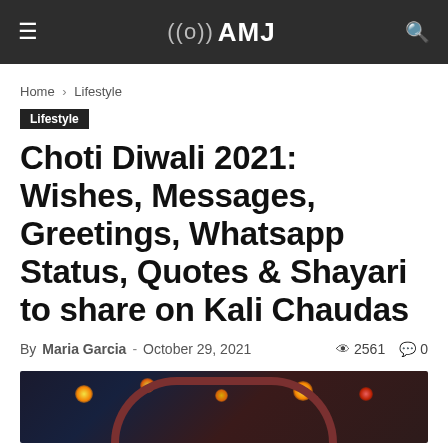((o)) AMJ
Home › Lifestyle
Lifestyle
Choti Diwali 2021: Wishes, Messages, Greetings, Whatsapp Status, Quotes & Shayari to share on Kali Chaudas
By Maria Garcia - October 29, 2021  2561  0
[Figure (photo): Diwali decorative arch with candles and diyas glowing in dark setting]